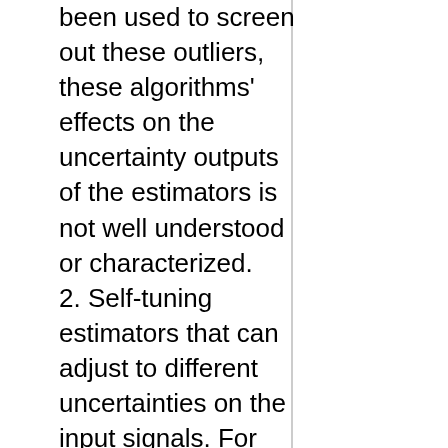been used to screen out these outliers, these algorithms' effects on the uncertainty outputs of the estimators is not well understood or characterized.
2. Self-tuning estimators that can adjust to different uncertainties on the input signals. For example, a navigation estimator that takes in both GPS (global positioning system) and inertial measurement unit (IMU) inputs is typically tuned to the performance of a specific IMU. However, even when an IMU of the same series is put into the system, its measurements may have different uncertainty